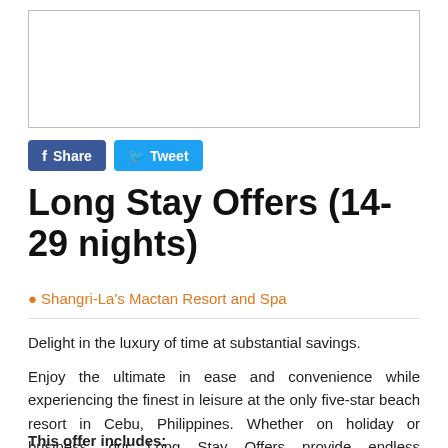[Figure (other): Empty advertisement box with border]
[Figure (other): Social sharing buttons: Facebook Share and Twitter Tweet]
Long Stay Offers (14-29 nights)
Shangri-La's Mactan Resort and Spa
Delight in the luxury of time at substantial savings.
Enjoy the ultimate in ease and convenience while experiencing the finest in leisure at the only five-star beach resort in Cebu, Philippines. Whether on holiday or business, our Long Stay Offers provide endless possibilities for the seasoned world-traveller.
This offer includes: